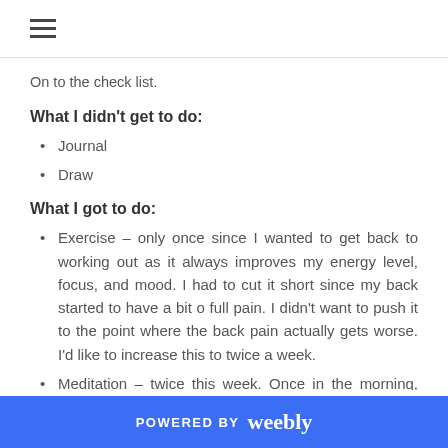≡ (hamburger menu icon)
On to the check list.
What I didn't get to do:
Journal
Draw
What I got to do:
Exercise – only once since I wanted to get back to working out as it always improves my energy level, focus, and mood. I had to cut it short since my back started to have a bit o full pain. I didn't want to push it to the point where the back pain actually gets worse. I'd like to increase this to twice a week.
Meditation – twice this week. Once in the morning, and once in the evening. I'd like to increase this to at
POWERED BY weebly